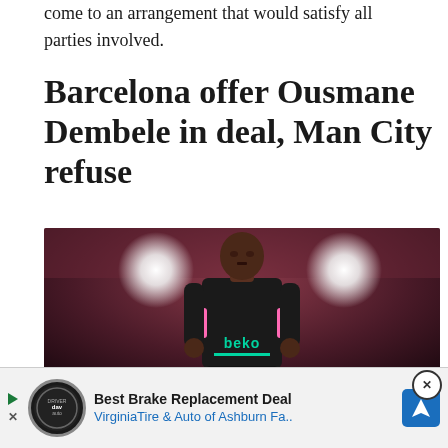come to an arrangement that would satisfy all parties involved.
Barcelona offer Ousmane Dembele in deal, Man City refuse
[Figure (photo): Ousmane Dembele wearing a dark Barcelona training kit with 'beko' sponsor logo and pink accents, running on the pitch with stadium lights in the background]
Best Brake Replacement Deal VirginiaTire & Auto of Ashburn Fa..